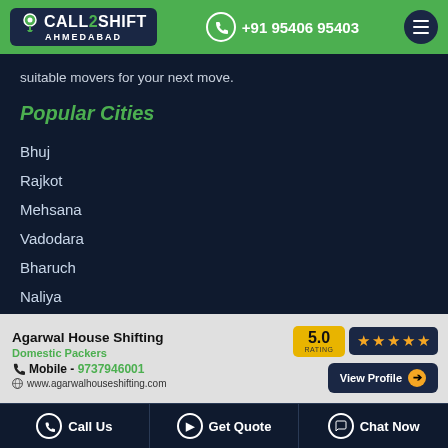CALL2SHIFT AHMEDABAD | +91 95406 95403
suitable movers for your next move.
Popular Cities
Bhuj
Rajkot
Mehsana
Vadodara
Bharuch
Naliya
[Figure (infographic): Ad banner for Agarwal House Shifting - Domestic Packers with 5.0 rating, mobile 9737946001, website www.agarwalhouseshifting.com, View Profile button]
Call Us | Get Quote | Chat Now